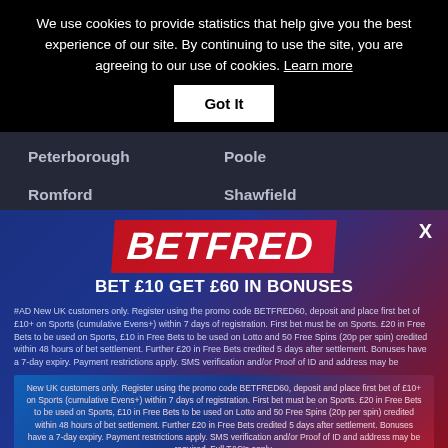We use cookies to provide statistics that help give you the best experience of our site. By continuing to use the site, you are agreeing to our use of cookies. Learn more
Got It
Peterborough
Poole
Romford
Shawfield
Sheffield
Sittingbourne
Sunderland
Swindon
[Figure (infographic): Betfred advertisement banner: BET £10 GET £60 IN BONUSES with logo and terms text]
BET £10 GET £60 IN BONUSES
#AD New UK customers only. Register using the promo code BETFRED60, deposit and place first bet of £10+ on Sports (cumulative Evens+) within 7 days of registration. First bet must be on Sports. £20 in Free Bets to be used on Sports, £10 in Free Bets to be used on Lotto and 50 Free Spins (20p per spin) credited within 48 hours of bet settlement. Further £20 in Free Bets credited 5 days after settlement. Bonuses have a 7-day expiry. Payment restrictions apply. SMS verification and/or Proof of ID and address may be required. Full T&C's apply.